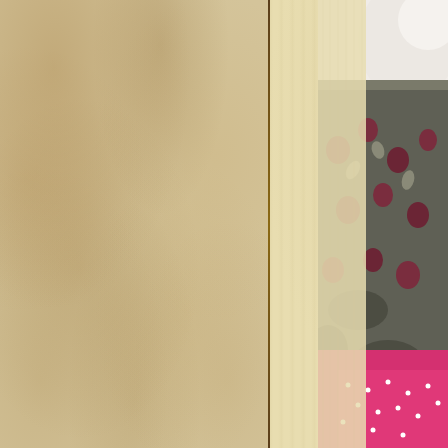[Figure (photo): Left panel: aged, stained parchment or paper with mottled yellowish-brown texture, showing watermarks and discoloration. Right panel: a cropped photograph showing a patterned rug or carpet with floral motifs in grey and dark red/maroon tones, a pink garment with white dot pattern, and white fabric (possibly a pillow or blanket) in the upper right corner. The two panels are separated by a thin dark vertical line.]